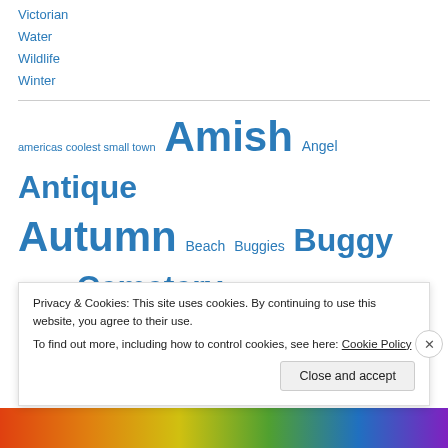Victorian
Water
Wildlife
Winter
[Figure (infographic): Tag cloud with words: americas coolest small town, Amish, Angel, Antique, Autumn, Beach, Buggies, Buggy, butterfly, Cemetery, Christmas, christmas display, Christmas tree, Church, Clouds, covered bridge ephrata, fall foliage, Farm, Flowers]
Privacy & Cookies: This site uses cookies. By continuing to use this website, you agree to their use. To find out more, including how to control cookies, see here: Cookie Policy
Close and accept